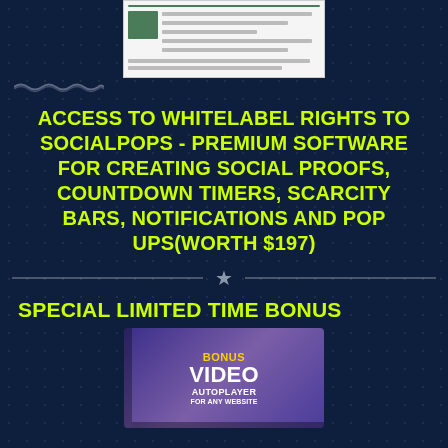[Figure (screenshot): Screenshot of a software or website interface shown at the top of the page]
ACCESS TO WHITELABEL RIGHTS TO SOCIALPOPS - PREMIUM SOFTWARE FOR CREATING SOCIAL PROOFS, COUNTDOWN TIMERS, SCARCITY BARS, NOTIFICATIONS AND POP UPS(WORTH $197)
SPECIAL LIMITED TIME BONUS
[Figure (photo): Bonus Video Autoplayer software box image with purple/blue gradient background, text reads BONUS VIDEO AUTOPLAYER FOR ANY WEBSITE]